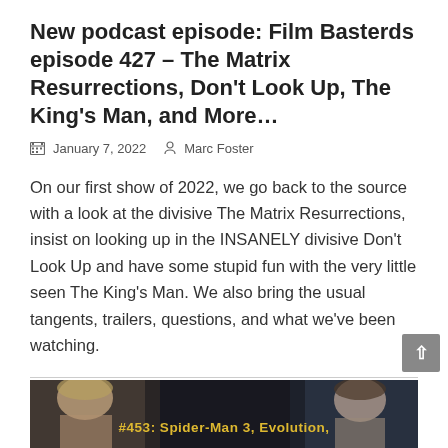New podcast episode: Film Basterds episode 427 – The Matrix Resurrections, Don't Look Up, The King's Man, and More…
January 7, 2022   Marc Foster
On our first show of 2022, we go back to the source with a look at the divisive The Matrix Resurrections, insist on looking up in the INSANELY divisive Don't Look Up and have some stupid fun with the very little seen The King's Man. We also bring the usual tangents, trailers, questions, and what we've been watching.
[Figure (photo): Thumbnail image showing two people's faces with yellow text overlay reading '#453: Spider-Man 3, Evolution,' on a dark background]